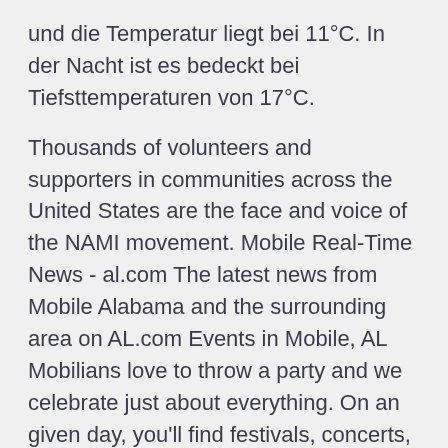und die Temperatur liegt bei 11°C. In der Nacht ist es bedeckt bei Tiefsttemperaturen von 17°C.
Thousands of volunteers and supporters in communities across the United States are the face and voice of the NAMI movement. Mobile Real-Time News - al.com The latest news from Mobile Alabama and the surrounding area on AL.com Events in Mobile, AL Mobilians love to throw a party and we celebrate just about everything. On an given day, you'll find festivals, concerts, street parties, art shows, symphonies, sporting eventsjust to name a few. mobile, AL cars & trucks - craigslist favorite this post Feb 4 2010 Mercedes-Benz C-Class C300 4MATIC Sport Sedan $6990 (Mobile, AL 36609) pic hide this posting restore restore this posting. $7990. favorite this post Feb 4 2007 Lexus LS 460 Luxury Sedan $7990 (Mobile, AL 36609) pic hide this posting